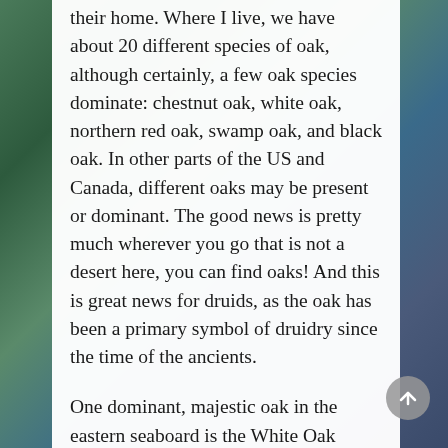their home.  Where I live, we have about 20 different species of oak, although certainly, a few oak species dominate: chestnut oak, white oak, northern red oak, swamp oak, and black oak.  In other parts of the US and Canada, different oaks may be present or dominant.  The good news is pretty much wherever you go that is not a desert here, you can find oaks!  And this is great news for druids, as the oak has been a primary symbol of druidry since the time of the ancients.
One dominant, majestic oak in the eastern seaboard is the White Oak (quercus alba); white oak is the most dominant species in North America. White oaks can grow up to 100 feet high, with a 5 foot diameter